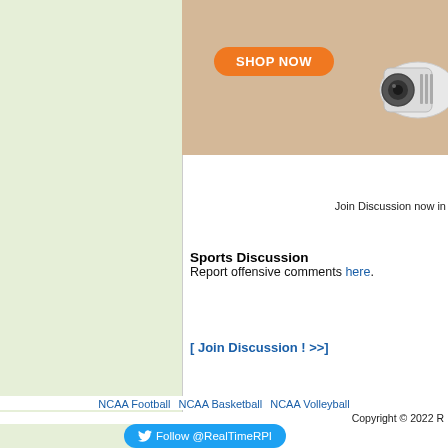[Figure (illustration): Light green left sidebar panel]
[Figure (photo): Advertisement banner at top with shop now orange button and projector image]
Join Discussion now in
Sports Discussion
Report offensive comments here.
[ Join Discussion ! >>]
Baylor Bears
[Figure (illustration): Green horizontal bar footer divider]
[Figure (screenshot): Japanese advertisement with play and close icons]
NCAA Football   NCAA Basketball   NCAA Volleyball
Copyright © 2022 R
Follow @RealTimeRPI